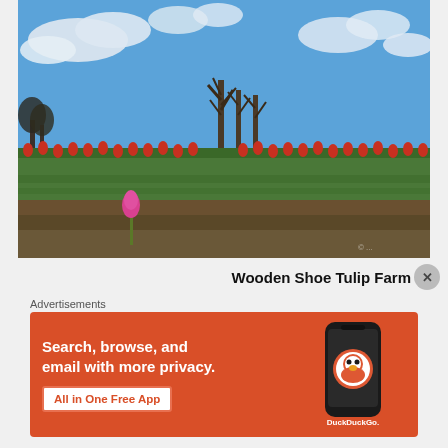[Figure (photo): Outdoor photograph of a tulip farm field with rows of red tulips stretching across the landscape, a single pink tulip in the foreground, bare trees in the middle distance, and a blue sky with white clouds above. Wooden Shoe Tulip Farm.]
Wooden Shoe Tulip Farm
Advertisements
[Figure (other): DuckDuckGo advertisement banner with orange background. Text: 'Search, browse, and email with more privacy. All in One Free App'. Shows a smartphone with the DuckDuckGo logo and app icon.]